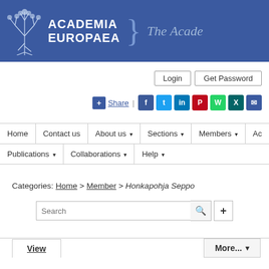[Figure (logo): Academia Europaea logo with tree icon and text 'ACADEMIA EUROPAEA } The Acade...' on blue background]
Login   Get Password
+ Share | Facebook Twitter LinkedIn Pinterest WhatsApp Xing Mail
Home | Contact us | About us ▾ | Sections ▾ | Members ▾ | Ac...
Publications ▾ | Collaborations ▾ | Help ▾
Categories: Home > Member > Honkapohja Seppo
Search
View    More... ▾